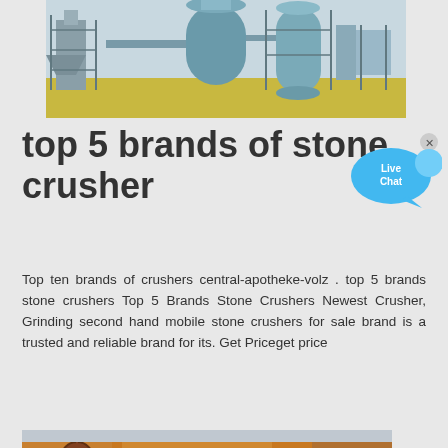[Figure (photo): Industrial stone crusher / dust collection equipment with cylindrical towers and scaffolding, blue-grey metallic structures against a light sky background]
top 5 brands of stone crusher
[Figure (illustration): Live Chat speech bubble widget - blue bubble with 'Live Chat' text and a small x close button]
Top ten brands of crushers central-apotheke-volz . top 5 brands stone crushers Top 5 Brands Stone Crushers Newest Crusher, Grinding second hand mobile stone crushers for sale brand is a trusted and reliable brand for its. Get Priceget price
[Figure (infographic): Contact Us button bar with red mail icon on left and dark navy background with CONTACT US text]
[Figure (photo): Stone crusher machinery - orange/rust colored mechanical crushing equipment with wheels and stone material visible]